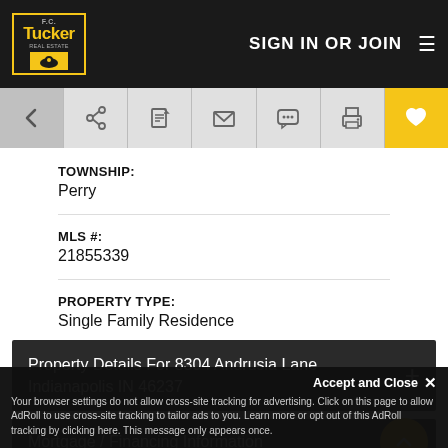F.C. Tucker — SIGN IN OR JOIN
[Figure (screenshot): Navigation toolbar with back arrow, share, edit, email, chat, print icons, and yellow heart/favorite button]
TOWNSHIP:
Perry
MLS #:
21855339
PROPERTY TYPE:
Single Family Residence
Property Details For 8304 Andrusia Lane Indianapolis IN 46237
Mortgage / Financing Information
Your browser settings do not allow cross-site tracking for advertising. Click on this page to allow AdRoll to use cross-site tracking to tailor ads to you. Learn more or opt out of this AdRoll tracking by clicking here. This message only appears once.